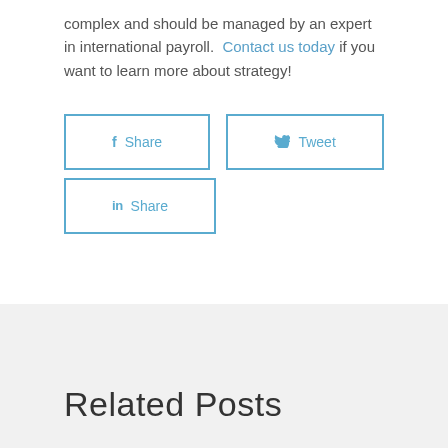complex and should be managed by an expert in international payroll. Contact us today if you want to learn more about strategy!
[Figure (other): Social share buttons: Facebook Share, Tweet, and LinkedIn Share buttons with blue borders]
Related Posts